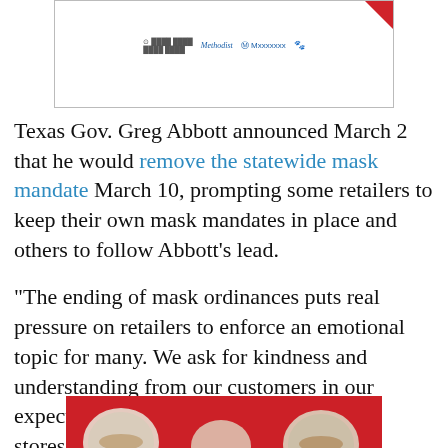[Figure (other): Advertisement banner with logos including Methodist and other healthcare/sponsor logos, with a red corner triangle accent]
Texas Gov. Greg Abbott announced March 2 that he would remove the statewide mask mandate March 10, prompting some retailers to keep their own mask mandates in place and others to follow Abbott’s lead.
“The ending of mask ordinances puts real pressure on retailers to enforce an emotional topic for many. We ask for kindness and understanding from our customers in our expectation of them to wear masks in our stores,” says H-E-B, alluding to the fiery debate over wearing masks.
H-E-B says it realizes that some customers can’t wear masks due to certain medical conditions.
[Figure (photo): Advertisement with red background showing food plates/dishes]